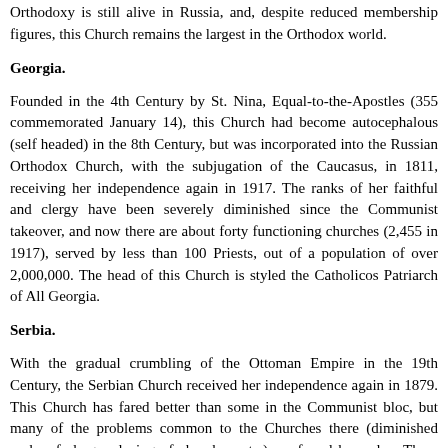Orthodoxy is still alive in Russia, and, despite reduced membership figures, this Church remains the largest in the Orthodox world.
Georgia.
Founded in the 4th Century by St. Nina, Equal-to-the-Apostles (355 commemorated January 14), this Church had become autocephalous (self headed) in the 8th Century, but was incorporated into the Russian Orthodox Church, with the subjugation of the Caucasus, in 1811, receiving her independence again in 1917. The ranks of her faithful and clergy have been severely diminished since the Communist takeover, and now there are about forty functioning churches (2,455 in 1917), served by less than 100 Priests, out of a population of over 2,000,000. The head of this Church is styled the Catholicos Patriarch of All Georgia.
Serbia.
With the gradual crumbling of the Ottoman Empire in the 19th Century, the Serbian Church received her independence again in 1879. This Church has fared better than some in the Communist bloc, but many of the problems common to the Churches there (diminished ranks of clergy, closing of churches, etc.) are found here also. There are large numbers of Orthodox Serbians in the Dispersion, many of whom are to be found in America, Australia